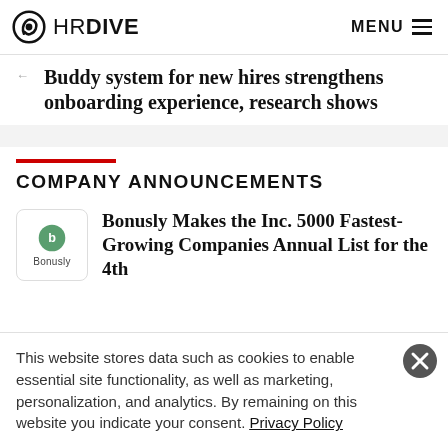HR DIVE  MENU
Buddy system for new hires strengthens onboarding experience, research shows
COMPANY ANNOUNCEMENTS
[Figure (logo): Bonusly company logo in a rounded square box]
Bonusly Makes the Inc. 5000 Fastest-Growing Companies Annual List for the 4th
This website stores data such as cookies to enable essential site functionality, as well as marketing, personalization, and analytics. By remaining on this website you indicate your consent. Privacy Policy